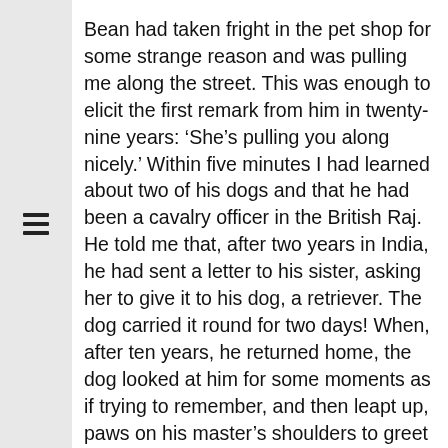Bean had taken fright in the pet shop for some strange reason and was pulling me along the street. This was enough to elicit the first remark from him in twenty-nine years: ‘She’s pulling you along nicely.’ Within five minutes I had learned about two of his dogs and that he had been a cavalry officer in the British Raj. He told me that, after two years in India, he had sent a letter to his sister, asking her to give it to his dog, a retriever. The dog carried it round for two days! When, after ten years, he returned home, the dog looked at him for some moments as if trying to remember, and then leapt up, paws on his master’s shoulders to greet him. I also learned that in India, his servant, and the dog he had there, missed a train: our cavalry officer pulled the communication chord to no avail, but at the next station he explained the situation and the servant and dog arrived shortly by special train! I expect more tales from the Raj when next Bean